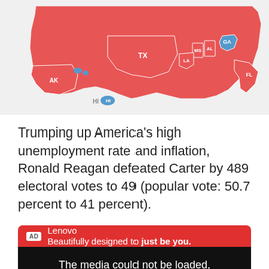[Figure (map): US electoral map showing 1980 presidential election results. Most states colored red (Republican/Reagan), with a few states colored blue (Democrat/Carter) including Georgia, Hawaii, and a couple others. State abbreviations labeled: AK, HI, TX, LA, MS, AL, GA, FL visible.]
Trumping up America’s high unemployment rate and inflation, Ronald Reagan defeated Carter by 489 electoral votes to 49 (popular vote: 50.7 percent to 41 percent).
[Figure (screenshot): Advertisement banner for Lenovo with red header reading 'Lenovo Beautifully designed to just be you.' followed by a black video player area showing error message: 'The media could not be loaded, either because the server or network failed or because the format is not supported']